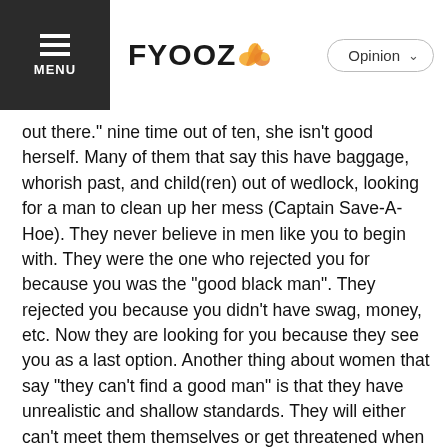FYOOZ | Opinion
out there." nine time out of ten, she isn't good herself. Many of them that say this have baggage, whorish past, and child(ren) out of wedlock, looking for a man to clean up her mess (Captain Save-A-Hoe). They never believe in men like you to begin with. They were the one who rejected you for because you was the "good black man". They rejected you because you didn't have swag, money, etc. Now they are looking for you because they see you as a last option. Another thing about women that say "they can't find a good man" is that they have unrealistic and shallow standards. They will either can't meet them themselves or get threatened when they see someone that don't have what they have (mainly a degree or decent paying job) but you still manage the speak the level in intellect that they supposedly have. These are the women that will say "you are not on their level", but they work in a managerial position and fail to realize that they have the same fate of a manager at McDonald's. Also, if you don't have a degree or a degree less than them and you sound like you have sense, they will be threatened by you.